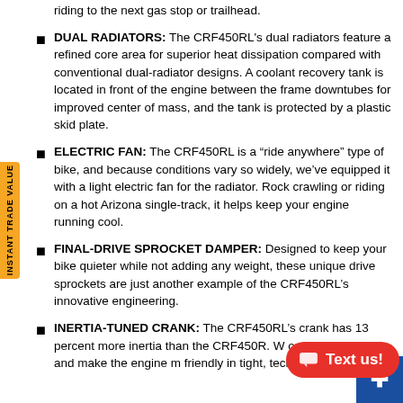riding to the next gas stop or trailhead.
DUAL RADIATORS: The CRF450RL's dual radiators feature a refined core area for superior heat dissipation compared with conventional dual-radiator designs. A coolant recovery tank is located in front of the engine between the frame downtubes for improved center of mass, and the tank is protected by a plastic skid plate.
ELECTRIC FAN: The CRF450RL is a “ride anywhere” type of bike, and because conditions vary so widely, we’ve equipped it with a light electric fan for the radiator. Rock crawling or riding on a hot Arizona single-track, it helps keep your engine running cool.
FINAL-DRIVE SPROCKET DAMPER: Designed to keep your bike quieter while not adding any weight, these unique drive sprockets are just another example of the CRF450RL’s innovative engineering.
INERTIA-TUNED CRANK: The CRF450RL’s crank has 13 percent more inertia than the CRF450R. W out power delivery and make the engine m friendly in tight, technical situations.